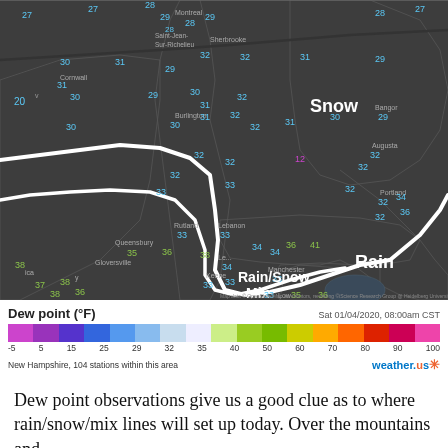[Figure (map): Weather map of northeastern USA and southern Canada showing dew point temperatures in colored numbers (blue for 20s-30s, green for 30s-40s) with a white boundary line separating Snow (north), Rain/Snow Mix (middle), and Rain (south) precipitation zones. Temperature readings shown at various locations.]
Dew point (°F)   Sat 01/04/2020, 08:00am CST
[Figure (infographic): Dew point color scale bar ranging from -5 to 100°F, showing colors: magenta, purple, dark blue, medium blue, light blue, white, light green, yellow-green, green, olive/yellow, orange, red-orange, deep red, pink. Labels at -5, 5, 15, 25, 29, 32, 35, 40, 50, 60, 70, 80, 90, 100.]
New Hampshire, 104 stations within this area
Dew point observations give us a good clue as to where rain/snow/mix lines will set up today. Over the mountains and